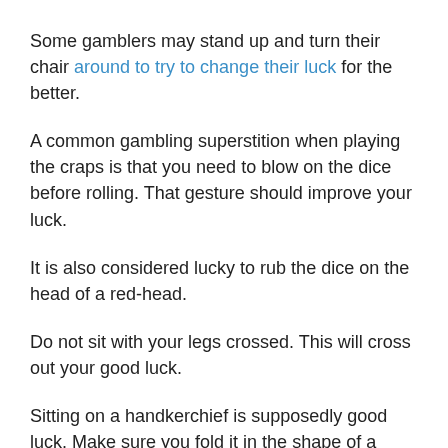Some gamblers may stand up and turn their chair around to try to change their luck for the better.
A common gambling superstition when playing the craps is that you need to blow on the dice before rolling. That gesture should improve your luck.
It is also considered lucky to rub the dice on the head of a red-head.
Do not sit with your legs crossed. This will cross out your good luck.
Sitting on a handkerchief is supposedly good luck. Make sure you fold it in the shape of a square.
Do not let dogs sit near your spot when gambling. It